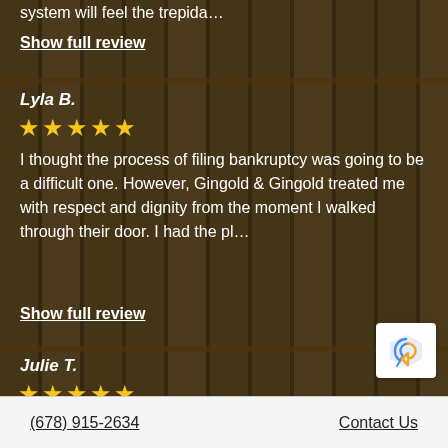system will feel the trepida…
Show full review
Lyla B.
★★★★★
I thought the process of filing bankruptcy was going to be a difficult one. However, Gingold & Gingold treated me with respect and dignity from the moment I walked through their door. I had the pl…
Show full review
Julie T.
★★★★★
Wow! I am finally out of debt and can say that I a…
(678) 915-2634    Contact Us